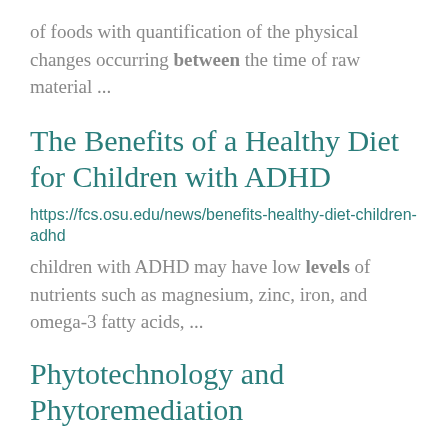of foods with quantification of the physical changes occurring between the time of raw material ...
The Benefits of a Healthy Diet for Children with ADHD
https://fcs.osu.edu/news/benefits-healthy-diet-children-adhd
children with ADHD may have low levels of nutrients such as magnesium, zinc, iron, and omega-3 fatty acids, ...
Phytotechnology and Phytoremediation